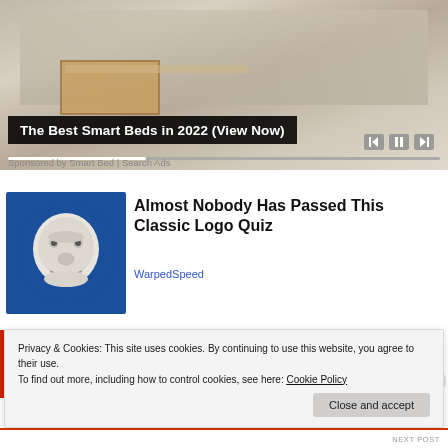[Figure (photo): Advertisement image of a smart bed with storage drawer open, showing bedroom furniture. Media player controls and progress bar overlay at bottom.]
The Best Smart Beds in 2022 (View Now)
Sponsored by Smart Bed | Search Ads
[Figure (illustration): Blue square thumbnail with vintage Gerber baby face illustration in white/grey sketch style]
Almost Nobody Has Passed This Classic Logo Quiz
WarpedSpeed
Privacy & Cookies: This site uses cookies. By continuing to use this website, you agree to their use.
To find out more, including how to control cookies, see here: Cookie Policy
Close and accept